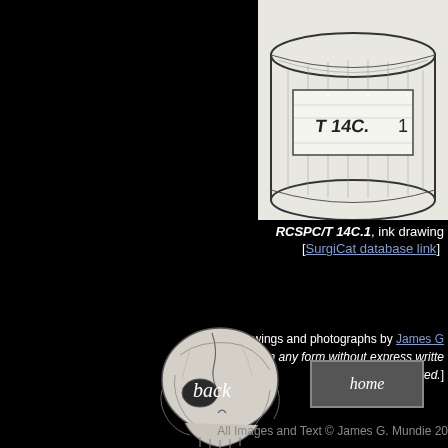[Figure (illustration): Ink drawing of a cylindrical object (jar/container) with label RCSPC/T 14C.1 visible, partially cropped, showing top portion only on black background]
RCSPC/T 14C.1, ink drawing [SurgiCat database link]
All drawings and photographs by James G [Reproduction in any form without express written consent of the artist is prohibited.]
[Figure (illustration): Ink illustration of a primate/fetal skull facing left, with the word 'back' overlaid in the center]
[Figure (other): Home button - grey rectangle with italic text 'home']
All Images and Text © James G. Mundie 20